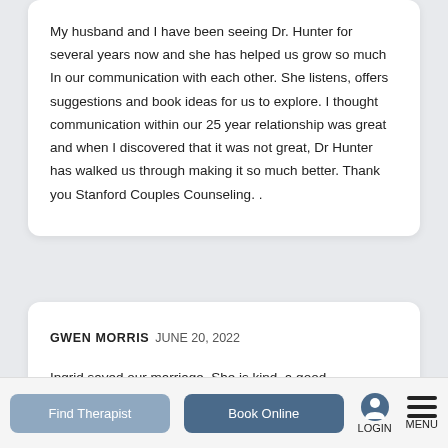My husband and I have been seeing Dr. Hunter for several years now and she has helped us grow so much In our communication with each other. She listens, offers suggestions and book ideas for us to explore. I thought communication within our 25 year relationship was great and when I discovered that it was not great, Dr Hunter has walked us through making it so much better. Thank you Stanford Couples Counseling. .
GWEN MORRIS JUNE 20, 2022
Ingrid saved our marriage. She is kind, a good